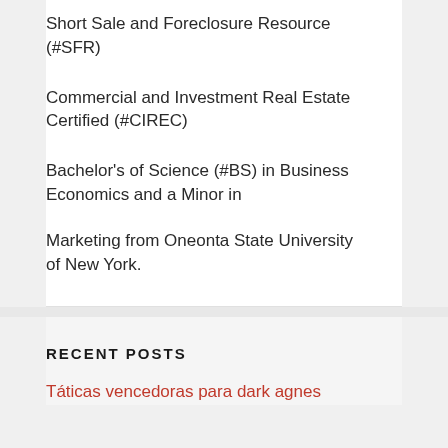Short Sale and Foreclosure Resource (#SFR)
Commercial and Investment Real Estate Certified (#CIREC)
Bachelor's of Science (#BS) in Business Economics and a Minor in
Marketing from Oneonta State University of New York.
RECENT POSTS
Táticas vencedoras para dark agnes